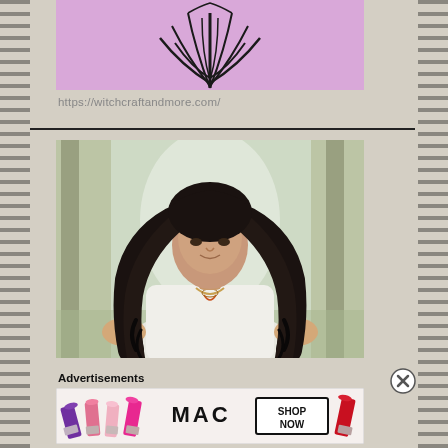[Figure (logo): Witchcraft logo: black feather/wing design on lavender/pink background]
https://witchcraftandmore.com/
[Figure (photo): Man with long dark curly hair wearing a decorative white shirt, hands raised with palms forward, standing in a forested background with light beams]
Advertisements
[Figure (other): MAC cosmetics advertisement showing colorful lipsticks and a SHOP NOW button]